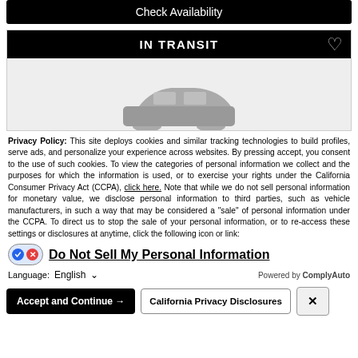Check Availability
IN TRANSIT
[Figure (illustration): Partial view of a car in grayscale at the bottom of an in-transit vehicle card]
Privacy Policy: This site deploys cookies and similar tracking technologies to build profiles, serve ads, and personalize your experience across websites. By pressing accept, you consent to the use of such cookies. To view the categories of personal information we collect and the purposes for which the information is used, or to exercise your rights under the California Consumer Privacy Act (CCPA), click here. Note that while we do not sell personal information for monetary value, we disclose personal information to third parties, such as vehicle manufacturers, in such a way that may be considered a "sale" of personal information under the CCPA. To direct us to stop the sale of your personal information, or to re-access these settings or disclosures at anytime, click the following icon or link:
Do Not Sell My Personal Information
Language: English
Powered by ComplyAuto
Accept and Continue →
California Privacy Disclosures
×